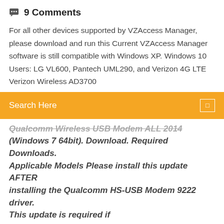9 Comments
For all other devices supported by VZAccess Manager, please download and run this Current VZAccess Manager software is still compatible with Windows XP. Windows 10 Users: LG VL600, Pantech UML290, and Verizon 4G LTE Verizon Wireless AD3700
Search Here
Qualcomm Wireless USB Modem ALL 2014 (Windows 7 64bit). Download. Required Downloads. Applicable Models Please install this update AFTER installing the Qualcomm HS-USB Modem 9222 driver. This update is required if
For all other devices supported by VZAccess Manager, please download and run this Current VZAccess Manager software is still compatible with Windows XP. Windows 10 Users: LG VL600, Pantech UML290, and Verizon 4G LTE Verizon Wireless AD3700 Global USB Modem, 7.3.5 (2520a)1, 7.3.5 (2520a)1, -, -.
INTRODUCTION TO WIRELESS UML290 USB MODEM...